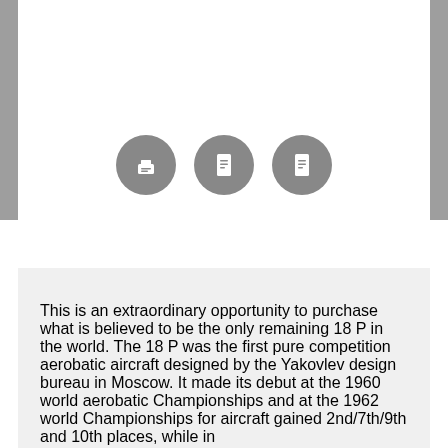[Figure (other): Top image area with gray left and right bars and three gray circular icon buttons (print, info, info) centered in the middle of the image area]
This is an extraordinary opportunity to purchase what is believed to be the only remaining 18 P in the world. The 18 P was the first pure competition aerobatic aircraft designed by the Yakovlev design bureau in Moscow. It made its debut at the 1960 world aerobatic Championships and at the 1962 world Championships for aircraft gained 2nd/7th/9th and 10th places, while in